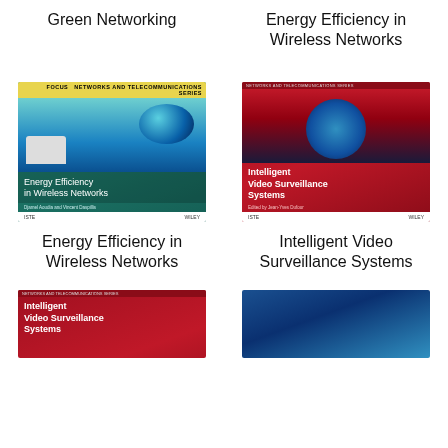Green Networking
Energy Efficiency in Wireless Networks
[Figure (illustration): Book cover: Energy Efficiency in Wireless Networks (green cover, FOCUS series, Wiley)]
[Figure (illustration): Book cover: Intelligent Video Surveillance Systems (red cover, Networks and Telecommunications Series, Wiley)]
Energy Efficiency in Wireless Networks
Intelligent Video Surveillance Systems
[Figure (illustration): Book cover: Intelligent Video Surveillance Systems (red cover, partial view at bottom)]
[Figure (illustration): Book cover: partially visible blue book cover at bottom right]